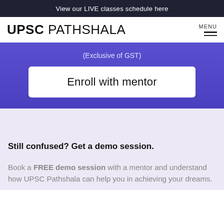View our LIVE classes schedule here
UPSC PATHSHALA
(Exclusive of GST)
Enroll with mentor
Still confused? Get a demo session.
Book a FREE demo session with a mentor and understand how UPSC Pathshala can help you in achieving your dreams.